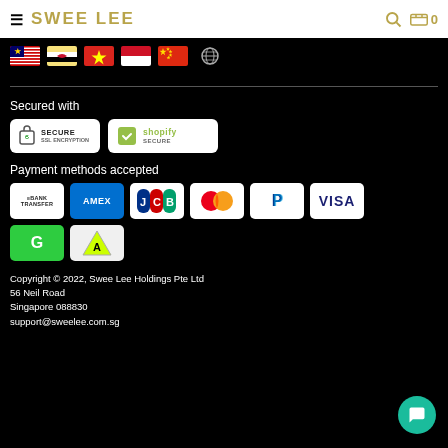SWEE LEE
[Figure (illustration): Row of country flags: Malaysia, Brunei, Vietnam, Indonesia, China, and a globe/world icon]
Secured with
[Figure (logo): SSL Secure Encryption badge and Shopify Secure badge]
Payment methods accepted
[Figure (logo): Payment method icons: Bank Transfer, AMEX, JCB, Mastercard, PayPal, VISA, GrabPay (G), and another payment icon]
Copyright © 2022, Swee Lee Holdings Pte Ltd
56 Neil Road
Singapore 088830
support@sweelee.com.sg